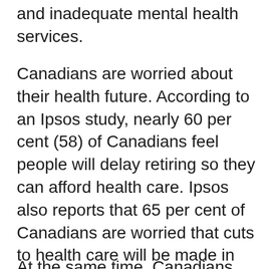and inadequate mental health services.
Canadians are worried about their health future. According to an Ipsos study, nearly 60 per cent (58) of Canadians feel people will delay retiring so they can afford health care. Ipsos also reports that 65 per cent of Canadians are worried that cuts to health care will be made in order to balance budgets, and over half (56%) worry a great deal that they will eventually have to pay for their health services. Canadians are also worried about longer wait times (62%), shortages of health professionals (60%) and increasingly crowded hospitals (59%).
At the same time, Canadians